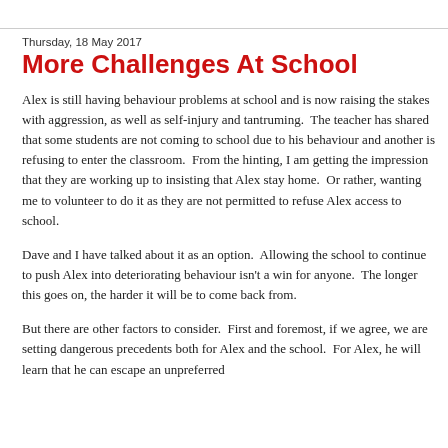Thursday, 18 May 2017
More Challenges At School
Alex is still having behaviour problems at school and is now raising the stakes with aggression, as well as self-injury and tantruming.  The teacher has shared that some students are not coming to school due to his behaviour and another is refusing to enter the classroom.  From the hinting, I am getting the impression that they are working up to insisting that Alex stay home.  Or rather, wanting me to volunteer to do it as they are not permitted to refuse Alex access to school.
Dave and I have talked about it as an option.  Allowing the school to continue to push Alex into deteriorating behaviour isn't a win for anyone.  The longer this goes on, the harder it will be to come back from.
But there are other factors to consider.  First and foremost, if we agree, we are setting dangerous precedents both for Alex and the school.  For Alex, he will learn that he can escape an unpreferred